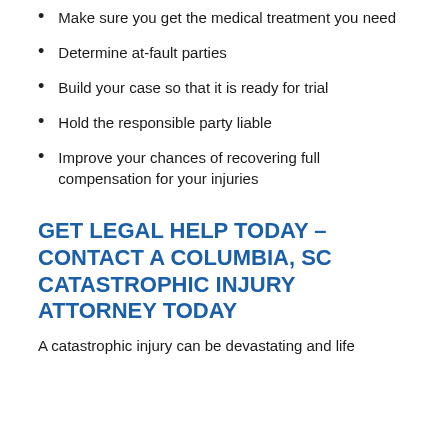Make sure you get the medical treatment you need
Determine at-fault parties
Build your case so that it is ready for trial
Hold the responsible party liable
Improve your chances of recovering full compensation for your injuries
GET LEGAL HELP TODAY – CONTACT A COLUMBIA, SC CATASTROPHIC INJURY ATTORNEY TODAY
A catastrophic injury can be devastating and life